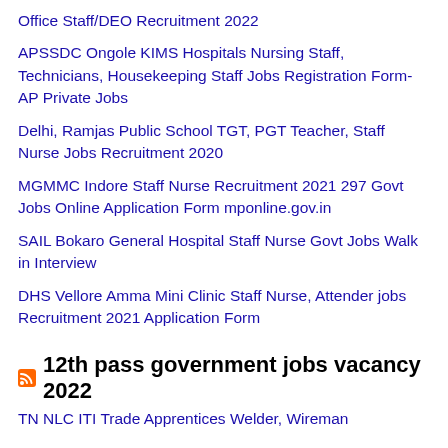Office Staff/DEO Recruitment 2022
APSSDC Ongole KIMS Hospitals Nursing Staff, Technicians, Housekeeping Staff Jobs Registration Form- AP Private Jobs
Delhi, Ramjas Public School TGT, PGT Teacher, Staff Nurse Jobs Recruitment 2020
MGMMC Indore Staff Nurse Recruitment 2021 297 Govt Jobs Online Application Form mponline.gov.in
SAIL Bokaro General Hospital Staff Nurse Govt Jobs Walk in Interview
DHS Vellore Amma Mini Clinic Staff Nurse, Attender jobs Recruitment 2021 Application Form
12th pass government jobs vacancy 2022
TN NLC ITI Trade Apprentices Welder, Wireman